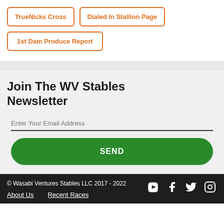TrueNicks Cross
Dialed In Stallion Page
1st Dam Produce Report
Join The WV Stables Newsletter
Enter Your Email Address
SEND
© Wasabi Ventures Stables LLC 2017 - 2022
About Us   Recent Races